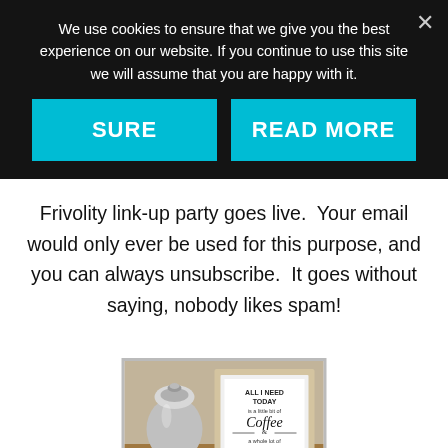We use cookies to ensure that we give you the best experience on our website. If you continue to use this site we will assume that you are happy with it.
[Figure (screenshot): Cookie consent dialog with two cyan buttons: SURE and READ MORE, on a dark background with an X close button]
Frivolity link-up party goes live.  Your email would only ever be used for this purpose, and you can always unsubscribe.  It goes without saying, nobody likes spam!
[Figure (photo): Photo of a framed sign on a kitchen counter reading 'ALL I NEED TODAY is a little bit of Coffee & a whole lot of JESUS', with a silver canister and orange pumpkin decoration]